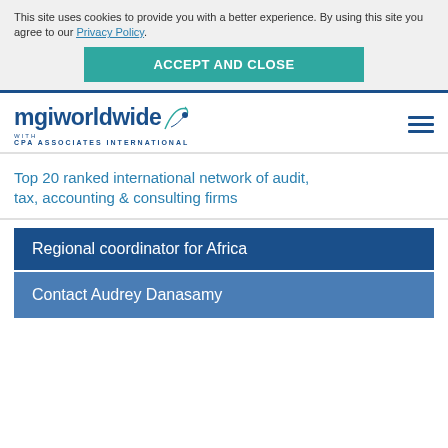This site uses cookies to provide you with a better experience. By using this site you agree to our Privacy Policy.
ACCEPT AND CLOSE
[Figure (logo): MGI Worldwide with CPA Associates International logo]
Top 20 ranked international network of audit, tax, accounting & consulting firms
Regional coordinator for Africa
Contact Audrey Danasamy